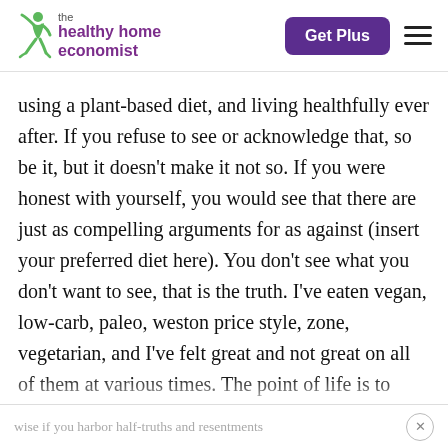[Figure (logo): The Healthy Home Economist logo with green jumping figure and purple text]
using a plant-based diet, and living healthfully ever after. If you refuse to see or acknowledge that, so be it, but it doesn't make it not so. If you were honest with yourself, you would see that there are just as compelling arguments for as against (insert your preferred diet here). You don't see what you don't want to see, that is the truth. I've eaten vegan, low-carb, paleo, weston price style, zone, vegetarian, and I've felt great and not great on all of them at various times. The point of life is to become wise, to take responsibility for your own life, health, and freedom – you cannot call yourself wise if you harbor half-truths and resentments toward your fellow man. Your enemy is
wise if you harbor half-truths and resentments toward your fellow man. Your enemy is